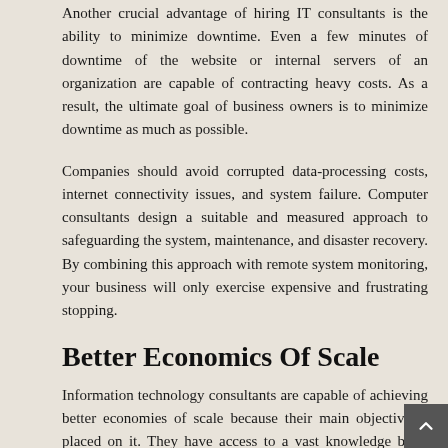Another crucial advantage of hiring IT consultants is the ability to minimize downtime. Even a few minutes of downtime of the website or internal servers of an organization are capable of contracting heavy costs. As a result, the ultimate goal of business owners is to minimize downtime as much as possible.
Companies should avoid corrupted data-processing costs, internet connectivity issues, and system failure. Computer consultants design a suitable and measured approach to safeguarding the system, maintenance, and disaster recovery. By combining this approach with remote system monitoring, your business will only exercise expensive and frustrating stopping.
Better Economics Of Scale
Information technology consultants are capable of achieving better economies of scale because their main objective is placed on it. They have access to a vast knowledge base, which means that they are experts by consolidating purchasing power and providing better and more expensive services.